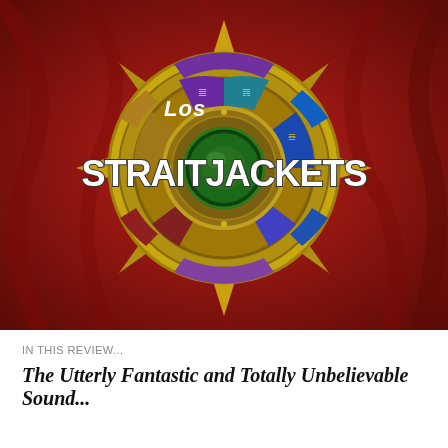[Figure (illustration): Album cover art for Los Straitjackets showing a colorful Aztec calendar / sun stone medallion with gold decorative spikes, sections in purple, blue, green, red and gold, centered on a green orb, set against a vivid red draped fabric background. The band name 'Los Straitjackets' appears in large white bold retro lettering across the center, with 'Los' in smaller white text above.]
IN THIS REVIEW...
The Utterly Fantastic and Totally Unbelievable Sound...